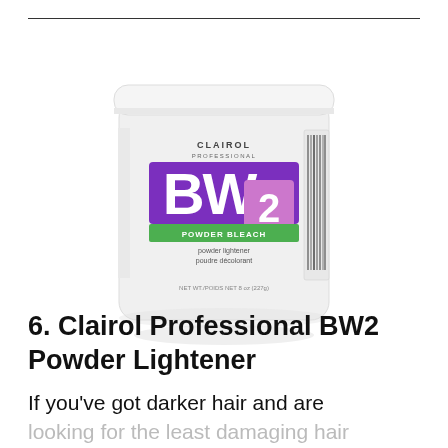[Figure (photo): Clairol Professional BW2 Powder Lightener white tub with purple and green label]
6. Clairol Professional BW2 Powder Lightener
If you've got darker hair and are looking for the least damaging hair bleach, this is for you. The brand itself